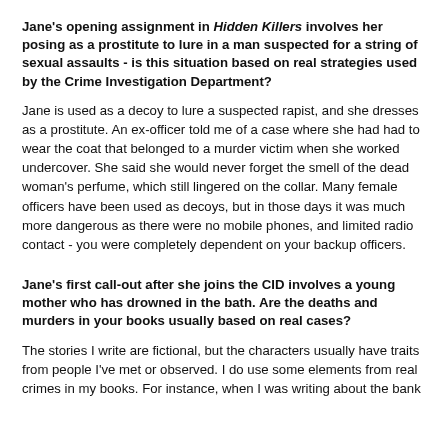Jane's opening assignment in Hidden Killers involves her posing as a prostitute to lure in a man suspected for a string of sexual assaults - is this situation based on real strategies used by the Crime Investigation Department?
Jane is used as a decoy to lure a suspected rapist, and she dresses as a prostitute. An ex-officer told me of a case where she had had to wear the coat that belonged to a murder victim when she worked undercover. She said she would never forget the smell of the dead woman's perfume, which still lingered on the collar. Many female officers have been used as decoys, but in those days it was much more dangerous as there were no mobile phones, and limited radio contact - you were completely dependent on your backup officers.
Jane's first call-out after she joins the CID involves a young mother who has drowned in the bath. Are the deaths and murders in your books usually based on real cases?
The stories I write are fictional, but the characters usually have traits from people I've met or observed. I do use some elements from real crimes in my books. For instance, when I was writing about the bank